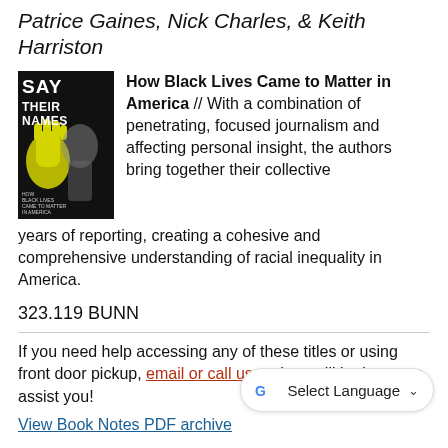Patrice Gaines, Nick Charles, & Keith Harriston
[Figure (photo): Book cover of 'Say Their Names: How Black Lives Came to Matter in America' showing a black and white image of a person with a raised fist and yellow graphic element]
How Black Lives Came to Matter in America // With a combination of penetrating, focused journalism and affecting personal insight, the authors bring together their collective years of reporting, creating a cohesive and comprehensive understanding of racial inequality in America.
323.119 BUNN
If you need help accessing any of these titles or using front door pickup, email or call us and we will be happy to assist you!
View Book Notes PDF archive